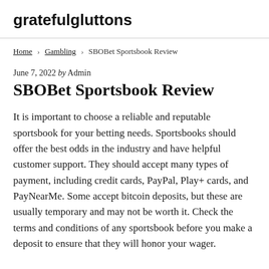gratefulgluttons
Home › Gambling › SBOBet Sportsbook Review
June 7, 2022 by Admin
SBOBet Sportsbook Review
It is important to choose a reliable and reputable sportsbook for your betting needs. Sportsbooks should offer the best odds in the industry and have helpful customer support. They should accept many types of payment, including credit cards, PayPal, Play+ cards, and PayNearMe. Some accept bitcoin deposits, but these are usually temporary and may not be worth it. Check the terms and conditions of any sportsbook before you make a deposit to ensure that they will honor your wager.